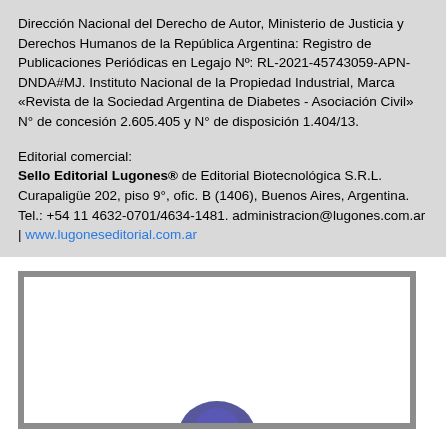Dirección Nacional del Derecho de Autor, Ministerio de Justicia y Derechos Humanos de la República Argentina: Registro de Publicaciones Periódicas en Legajo Nº: RL-2021-45743059-APN-DNDA#MJ. Instituto Nacional de la Propiedad Industrial, Marca «Revista de la Sociedad Argentina de Diabetes - Asociación Civil» N° de concesión 2.605.405 y N° de disposición 1.404/13.
Editorial comercial:
Sello Editorial Lugones® de Editorial Biotecnológica S.R.L. Curapaligüe 202, piso 9°, ofic. B (1406), Buenos Aires, Argentina. Tel.: +54 11 4632-0701/4634-1481. administracion@lugones.com.ar | www.lugoneseditorial.com.ar
[Figure (other): Gray bordered box containing a white inner rectangle with a partial logo/image visible at the bottom center]